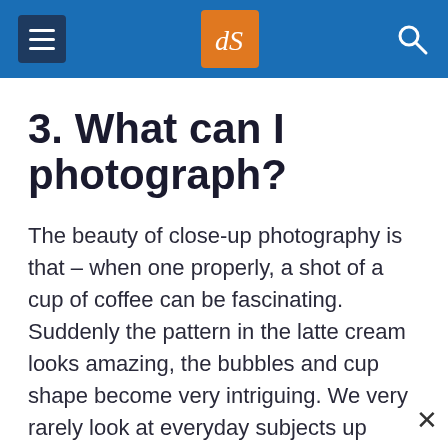dPS (digital photography school header)
3. What can I photograph?
The beauty of close-up photography is that – when one properly, a shot of a cup of coffee can be fascinating.  Suddenly the pattern in the latte cream looks amazing, the bubbles and cup shape become very intriguing. We very rarely look at everyday subjects up close and when we